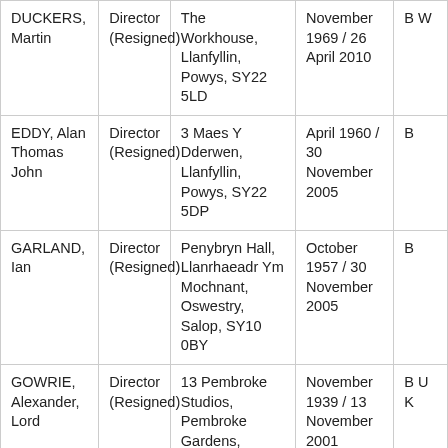| Name | Role | Address | Date of Birth / Date | B... |
| --- | --- | --- | --- | --- |
| DUCKERS, Martin | Director (Resigned) | The Workhouse, Llanfyllin, Powys, SY22 5LD | November 1969 / 26 April 2010 | W... |
| EDDY, Alan Thomas John | Director (Resigned) | 3 Maes Y Dderwen, Llanfyllin, Powys, SY22 5DP | April 1960 / 30 November 2005 | B... |
| GARLAND, Ian | Director (Resigned) | Penybryn Hall, Llanrhaeadr Ym Mochnant, Oswestry, Salop, SY10 0BY | October 1957 / 30 November 2005 | B... |
| GOWRIE, Alexander, Lord | Director (Resigned) | 13 Pembroke Studios, Pembroke Gardens, London, W8 6HX | November 1939 / 13 November 2001 | B U K... |
| GRIFFITHS, Kenneth | Director (Resigned) | The Old Rectory, Llanfihangel... | April 1942 / ... | B... |